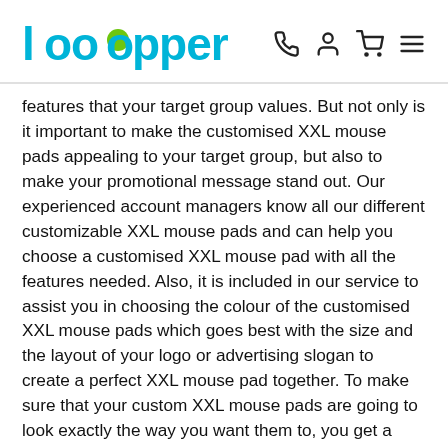Loopper
features that your target group values. But not only is it important to make the customised XXL mouse pads appealing to your target group, but also to make your promotional message stand out. Our experienced account managers know all our different customizable XXL mouse pads and can help you choose a customised XXL mouse pad with all the features needed. Also, it is included in our service to assist you in choosing the colour of the customised XXL mouse pads which goes best with the size and the layout of your logo or advertising slogan to create a perfect XXL mouse pad together. To make sure that your custom XXL mouse pads are going to look exactly the way you want them to, you get a free digital design before you complete your order. If you are unsure or have a